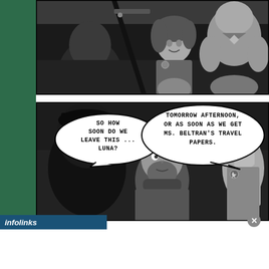[Figure (illustration): Comic panel showing several characters seated together in what appears to be a vehicle interior. Characters include a woman with curly dark hair smiling, and a large muscular person, rendered in grayscale comic art style.]
[Figure (illustration): Comic panel showing three characters: a shadowy figure on the left, a bearded man in the center, and an older person with long braided hair on the right. Speech bubbles read: 'SO HOW SOON DO WE LEAVE THIS ... LUNA?' and 'TOMORROW AFTERNOON, OR AS SOON AS WE GET MS. BELTRAN'S TRAVEL PAPERS.']
infolinks